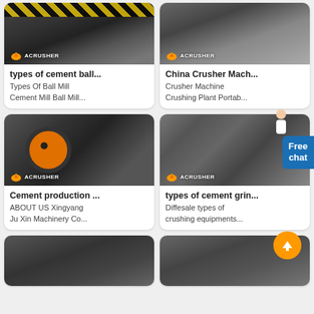[Figure (photo): Industrial ball mill machine with ACRUSHER logo, yellow diagonal warning stripes visible]
types of cement ball...
Types Of Ball Mill
Cement Mill Ball Mill...
[Figure (photo): Crusher machine with ACRUSHER logo, industrial equipment]
China Crusher Mach...
Crusher Machine
Crushing Plant Portab...
[Figure (photo): Cement production jaw crusher machine with large orange flywheel, ACRUSHER logo]
Cement production ...
ABOUT US Xingyang
Ju Xin Machinery Co...
[Figure (photo): Types of cement grinding equipment, sand washing machine, ACRUSHER logo]
types of cement grin...
Diffesale types of
crushing equipments...
[Figure (photo): Industrial jaw crusher machine in factory hall, partial view]
[Figure (photo): Large industrial tank or mill machine in factory, partial view]